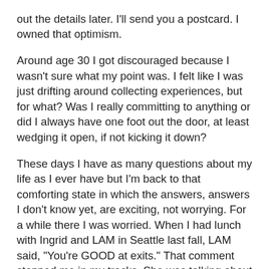out the details later. I'll send you a postcard. I owned that optimism.
Around age 30 I got discouraged because I wasn't sure what my point was. I felt like I was just drifting around collecting experiences, but for what? Was I really committing to anything or did I always have one foot out the door, at least wedging it open, if not kicking it down?
These days I have as many questions about my life as I ever have but I'm back to that comforting state in which the answers, answers I don't know yet, are exciting, not worrying. For a while there I was worried. When I had lunch with Ingrid and LAM in Seattle last fall, LAM said, "You're GOOD at exits." That comment stopped me in my tracks. She was talking about me quitting my publishing job when I knew for sure that it didn't make me happy, when I resisted the unbelievably tempting offer of an office WITH A WINDOW.
A window! For me?? Another physical remind of the world out there that I'm not participating in the way I want to be?